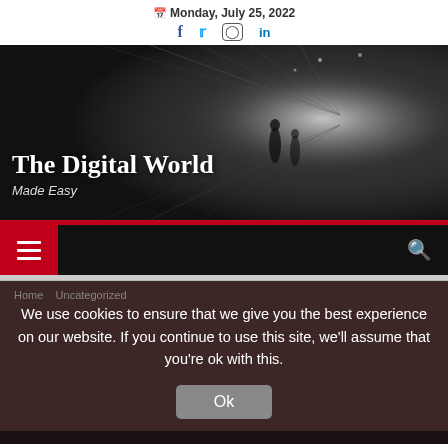Monday, July 25, 2022
The Digital World
Made Easy
[Figure (photo): Black and white photograph of a futuristic tunnel corridor with motion blur light streaks, silhouettes of people walking]
Home  Uncategorized
We use cookies to ensure that we give you the best experience on our website. If you continue to use this site, we'll assume that you're ok with this.
Ok